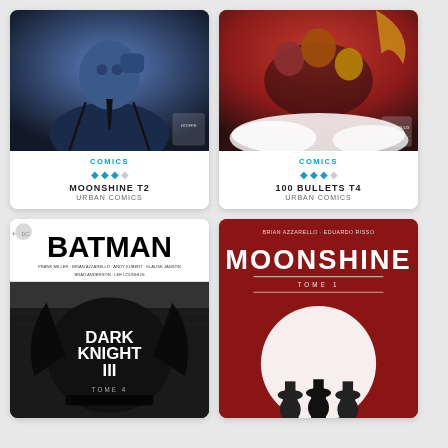[Figure (illustration): Comic book cover for Moonshine T2 - blue-toned illustration of a suited figure]
COMICS
MOONSHINE T2
URBAN COMICS
[Figure (illustration): Comic book cover for 100 Bullets T4 - dark red and gold toned cover with multiple characters]
COMICS
100 BULLETS T4
URBAN COMICS
[Figure (illustration): Comic book cover for Batman Dark Knight III Tome 4 - black and white cover with Batman title]
[Figure (illustration): Comic book cover for Moonshine Tome 1 - red cover with white moon and silhouetted figures]